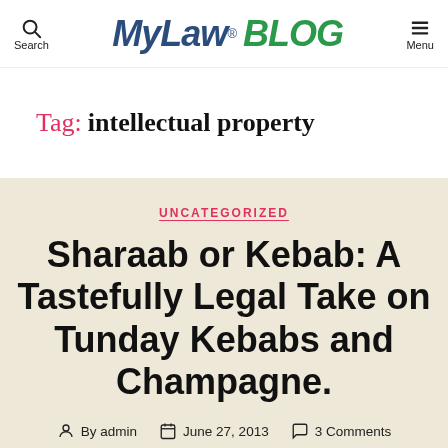MyLaw® BLOG — Search | Menu
Tag: intellectual property
UNCATEGORIZED
Sharaab or Kebab: A Tastefully Legal Take on Tunday Kebabs and Champagne.
By admin   June 27, 2013   3 Comments